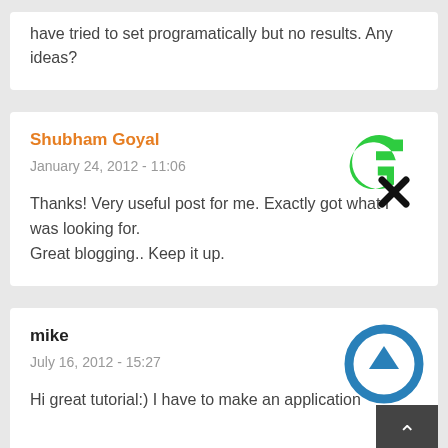have tried to set programatically but no results. Any ideas?
Shubham Goyal
January 24, 2012 - 11:06
Thanks! Very useful post for me. Exactly got what I was looking for.
Great blogging.. Keep it up.
mike
July 16, 2012 - 15:27
Hi great tutorial:) I have to make an application